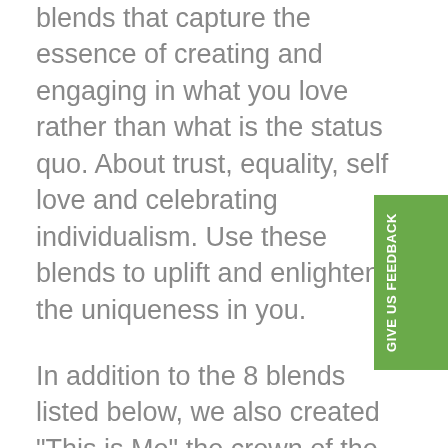blends that capture the essence of creating and engaging in what you love rather than what is the status quo. About trust, equality, self love and celebrating individualism. Use these blends to uplift and enlighten the uniqueness in you.
In addition to the 8 blends listed below, we also created "This is Me" the crown of the blends that celebrate individualism. There are 6 personal blends that capture powerful possibilities for the user, select the blend that magnifies your personality type and individual attributes. Use your personal blend to enhance your strengths and shout from the roof tops This is me!
We've created a unique multi use label that you can simply use as suggested in the brochure, or on alternative sized bottles of your choice as you personalise and customise to your requirements. May be you wish to make a half sized bottle as a sample or a room spray. The labels can be trimmed with scissors